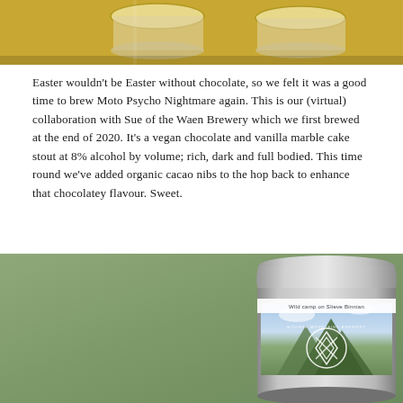[Figure (photo): Top portion of a photo showing glasses or cups on a yellow/golden surface, cropped at the top of the page]
Easter wouldn't be Easter without chocolate, so we felt it was a good time to brew Moto Psycho Nightmare again. This is our (virtual) collaboration with Sue of the Waen Brewery which we first brewed at the end of 2020. It's a vegan chocolate and vanilla marble cake stout at 8% alcohol by volume; rich, dark and full bodied. This time round we've added organic cacao nibs to the hop back to enhance that chocolatey flavour. Sweet.
[Figure (photo): A beer can from Mourne Mountains Brewery with label reading 'Wild camp on Slieve Binnian', featuring a mountain landscape photograph on the can, set against a muted green background]